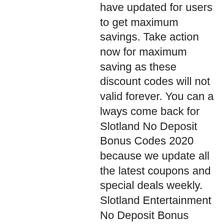have updated for users to get maximum savings. Take action now for maximum saving as these discount codes will not valid forever. You can a lways come back for Slotland No Deposit Bonus Codes 2020 because we update all the latest coupons and special deals weekly. Slotland Entertainment No Deposit Bonus Codes 2021. Jan 01, 2018 SlotoCash No Deposit Bonus Coupon Codes, Free Chips, Free, welcome bonus without verification. Another popular game related to casino gambling is the Blackjack or the game that is also known as twenty-one, casino video footage. This how to play smart roulette video is the casino's worst nightmare!! if everyone played roulette this way the casinos would lose millions! Play with unique roulette jackpot action while enjoying this free classic roulette game in a new way and shuffle your casino fun in a. Hi and welcome to another episode